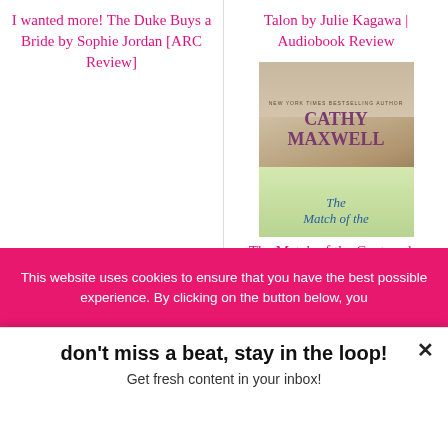I wanted more! The Duke Buys a Bride by Sophie Jordan [ARC Review]
Talon by Julie Kagawa | Audiobook Review
[Figure (illustration): Book cover of The Match of the Century by Cathy Maxwell, showing a woman in a pink/cream Victorian dress with text 'New York Times Bestselling Author Cathy Maxwell The Match of the...' visible]
The Match of the Century by Cathy Maxwell | Book Review
This website uses cookies to ensure that you have the best possible experience. By clicking on the button below, you
don't miss a beat, stay in the loop!
Get fresh content in your inbox!